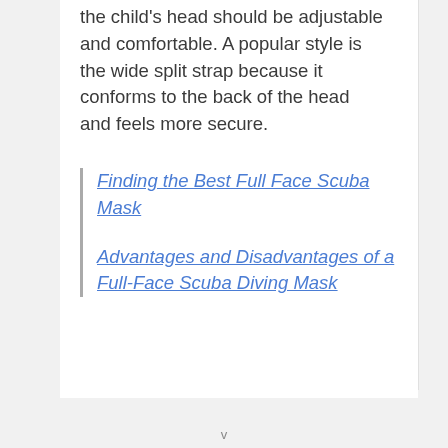the child's head should be adjustable and comfortable. A popular style is the wide split strap because it conforms to the back of the head and feels more secure.
Finding the Best Full Face Scuba Mask
Advantages and Disadvantages of a Full-Face Scuba Diving Mask